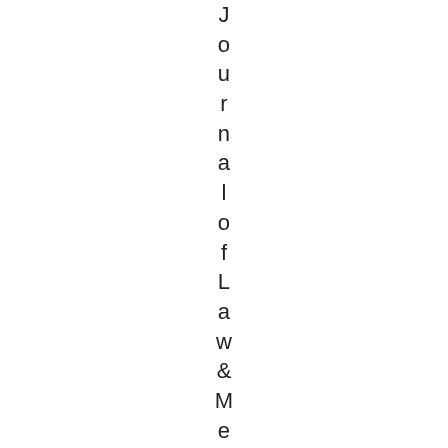Journal of Law & Medicine last